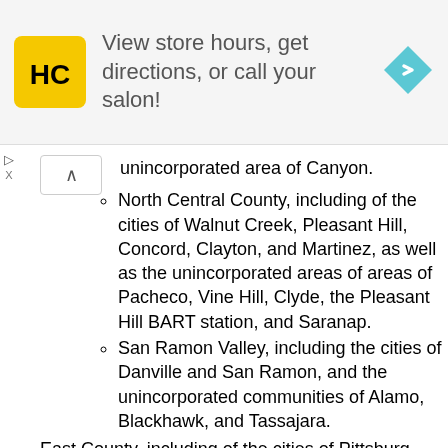[Figure (other): Advertisement banner for a salon with HC logo, text 'View store hours, get directions, or call your salon!' and a navigation arrow icon]
unincorporated area of Canyon.
North Central County, including of the cities of Walnut Creek, Pleasant Hill, Concord, Clayton, and Martinez, as well as the unincorporated areas of areas of Pacheco, Vine Hill, Clyde, the Pleasant Hill BART station, and Saranap.
San Ramon Valley, including the cities of Danville and San Ramon, and the unincorporated communities of Alamo, Blackhawk, and Tassajara.
East County, including of the cities of Pittsburg, Antioch, Oakley, and Brentwood, as well as the unincorporated communities of Bay Point, Bethel Island,